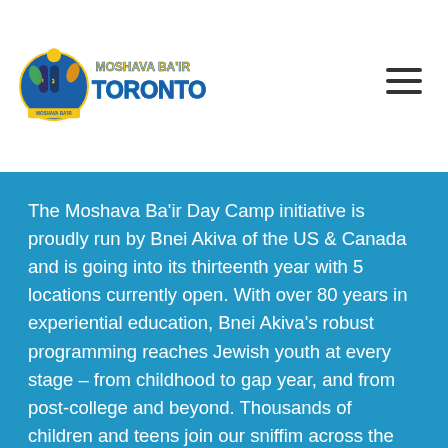[Figure (logo): Moshava Ba'ir Toronto camp logo with blue circular emblem and colorful text]
The Moshava Ba’ir Day Camp initiative is proudly run by Bnei Akiva of the US & Canada and is going into its thirteenth year with 5 locations currently open. With over 80 years in experiential education, Bnei Akiva’s robust programming reaches Jewish youth at every stage – from childhood to gap year, and from post-college and beyond. Thousands of children and teens join our sniffim across the US & Canada for weekly activities and Shabbatonim focused on Israel, Zionism, leadership, and Judaism.
Am Yisrael. Eretz Yisrael. Torat Yisrael.